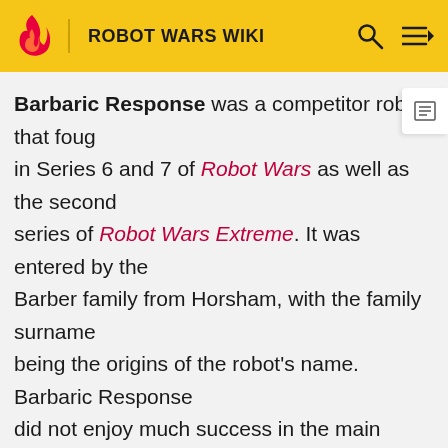ROBOT WARS WIKI
Barbaric Response was a competitor robot that fought in Series 6 and 7 of Robot Wars as well as the second series of Robot Wars Extreme. It was entered by the Barber family from Horsham, with the family surname being the origins of the robot's name. Barbaric Response did not enjoy much success in the main series, being eliminated in the second round in Series 6 by Firestorm 4 and the first round in Series 7 after it and Kan-Opener got stuck together. However, it finished as a runner-up in the Tag Team Terror competition of the second series of Extreme, alongside Hydra.
Design